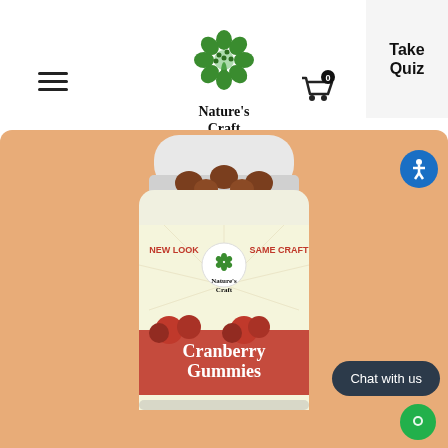Take Quiz | Nature's Craft navigation header
[Figure (logo): Nature's Craft logo with green tree/leaf circle icon above the text 'Nature's Craft']
[Figure (photo): Nature's Craft Cranberry Gummies supplement bottle on a peach/orange background. The bottle label reads 'NEW LOOK SAME CRAFT Nature's Craft Cranberry Gummies' with cranberry imagery. Brown gummy candies visible at top of open bottle.]